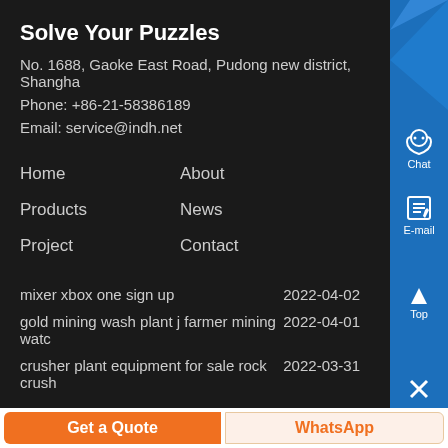Solve Your Puzzles
No. 1688, Gaoke East Road, Pudong new district, Shangha
Phone: +86-21-58386189
Email: service@indh.net
Home
About
Products
News
Project
Contact
mixer xbox one sign up  2022-04-02
gold mining wash plant j farmer mining watc  2022-04-01
crusher plant equipment for sale rock crush  2022-03-31